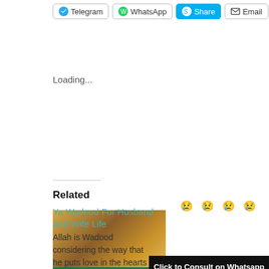Telegram | WhatsApp | Share | Email
Loading...
Related
[Figure (photo): Thumbnail image of a couple in traditional South Asian attire with overlay text 'Ya Wududu Wazifa for attract someone' on a green banner]
Ya Wududu Wazifa for attract someone
May 30, 2022
In "Blogs"
[Figure (photo): Thumbnail image with emoji faces and text 'Wazifa for love back' in green, with a red bar and a black banner overlay 'Click to Consult on Whatsapp']
Wazifa for love back in one day
April 6, 2022
In "asan wazifa for love"
Click to Consult on Whatsapp
Ya Wadood For Husband And Wife Life
Allah is Wadood considering the way that he puts love in the hearts